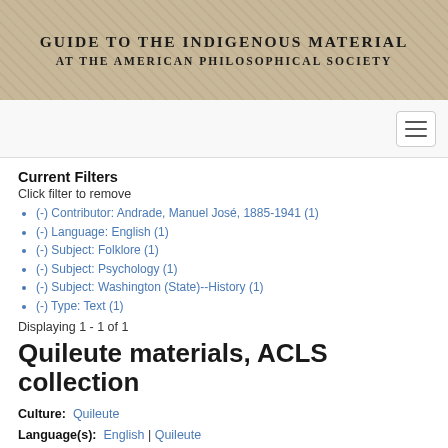GUIDE TO THE INDIGENOUS MATERIAL AT THE AMERICAN PHILOSOPHICAL SOCIETY
Current Filters
Click filter to remove
(-) Contributor: Andrade, Manuel José, 1885-1941 (1)
(-) Language: English (1)
(-) Subject: Folklore (1)
(-) Subject: Psychology (1)
(-) Subject: Washington (State)--History (1)
(-) Type: Text (1)
Displaying 1 - 1 of 1
Quileute materials, ACLS collection
Culture: Quileute
Language(s): English | Quileute
Date: 1908-1933
Contributor: Andrade, Manuel José, 1885-1941 | Frachtenberg